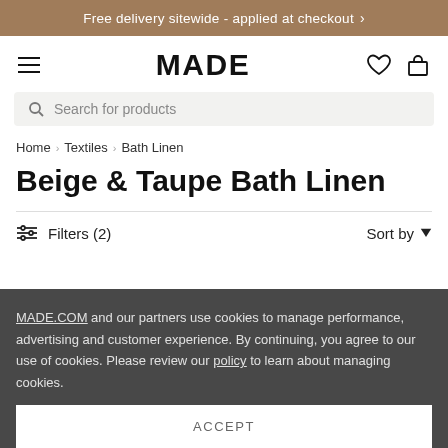Free delivery sitewide - applied at checkout >
[Figure (logo): MADE.COM navigation bar with hamburger menu, MADE logo, heart icon, and bag icon]
Search for products
Home > Textiles > Bath Linen
Beige & Taupe Bath Linen
Filters (2)   Sort by
MADE.COM and our partners use cookies to manage performance, advertising and customer experience. By continuing, you agree to our use of cookies. Please review our policy to learn about managing cookies.
ACCEPT